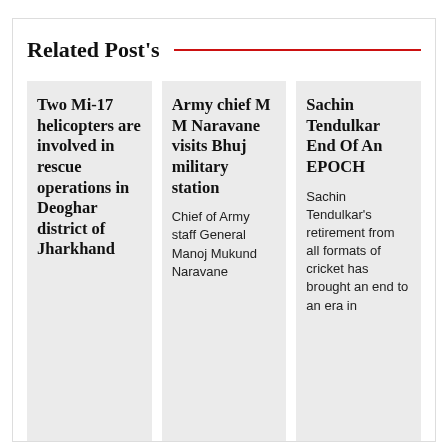Related Post's
Two Mi-17 helicopters are involved in rescue operations in Deoghar district of Jharkhand
Army chief M M Naravane visits Bhuj military station
Chief of Army staff General Manoj Mukund Naravane
Sachin Tendulkar End Of An EPOCH
Sachin Tendulkar's retirement from all formats of cricket has brought an end to an era in